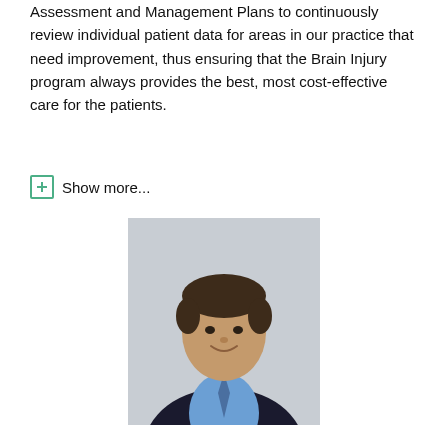Assessment and Management Plans to continuously review individual patient data for areas in our practice that need improvement, thus ensuring that the Brain Injury program always provides the best, most cost-effective care for the patients.
Show more...
[Figure (photo): Professional headshot of a middle-aged man in a dark suit and blue shirt with tie, smiling, against a light gray background.]